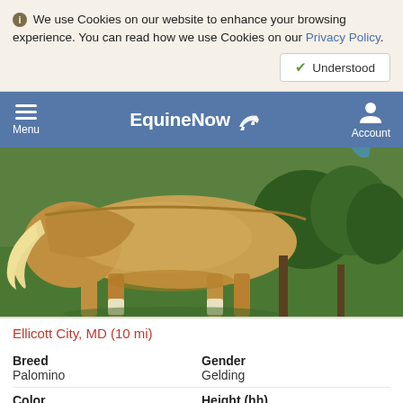We use Cookies on our website to enhance your browsing experience. You can read how we use Cookies on our Privacy Policy.
EquineNow — Menu | Account
[Figure (photo): A palomino horse standing on green grass, viewed from the side/rear, with trees in the background.]
Ellicott City, MD (10 mi)
| Field | Value |
| --- | --- |
| Breed | Palomino |
| Gender | Gelding |
| Color | Palomino |
| Height (hh) | 15.1 |